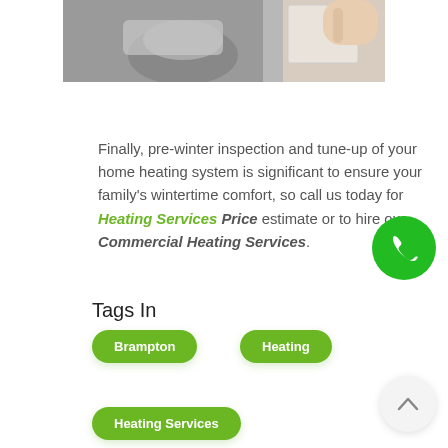[Figure (photo): Photo of a hand holding an HVAC/furnace filter near a heating unit, cropped at top]
Finally, pre-winter inspection and tune-up of your home heating system is significant to ensure your family's wintertime comfort, so call us today for Heating Services Price estimate or to hire our Commercial Heating Services.
Tags In
Brampton
Heating
Heating Services